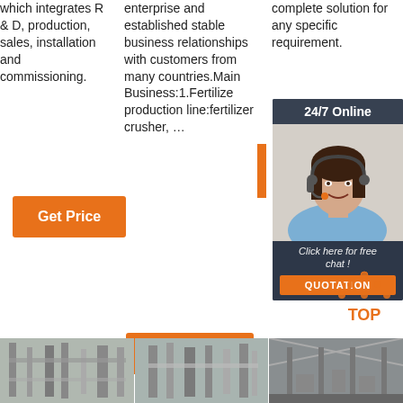which integrates R & D, production, sales, installation and commissioning.
enterprise and established stable business relationships with customers from many countries.Main Business:1.Fertilize production line:fertilizer crusher, ...
complete solution for any specific requirement.
[Figure (infographic): 24/7 Online chat widget with a woman wearing a headset, a 'Click here for free chat!' message, and a QUOTATION orange button]
Get Price (button, column 1)
Get Price (button, column 2)
[Figure (illustration): TOP back-to-top icon with orange dots forming an upward triangle above the word TOP in orange]
[Figure (photo): Three thumbnail photos of industrial/manufacturing equipment at the bottom of the page]